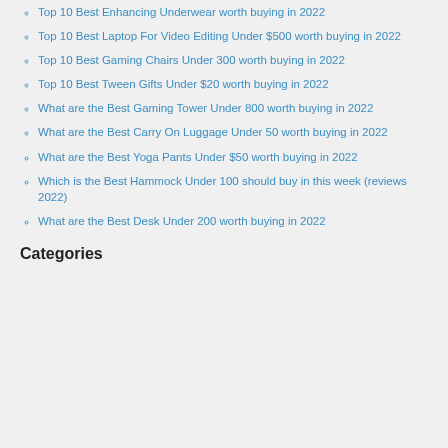Top 10 Best Enhancing Underwear worth buying in 2022
Top 10 Best Laptop For Video Editing Under $500 worth buying in 2022
Top 10 Best Gaming Chairs Under 300 worth buying in 2022
Top 10 Best Tween Gifts Under $20 worth buying in 2022
What are the Best Gaming Tower Under 800 worth buying in 2022
What are the Best Carry On Luggage Under 50 worth buying in 2022
What are the Best Yoga Pants Under $50 worth buying in 2022
Which is the Best Hammock Under 100 should buy in this week (reviews 2022)
What are the Best Desk Under 200 worth buying in 2022
Categories